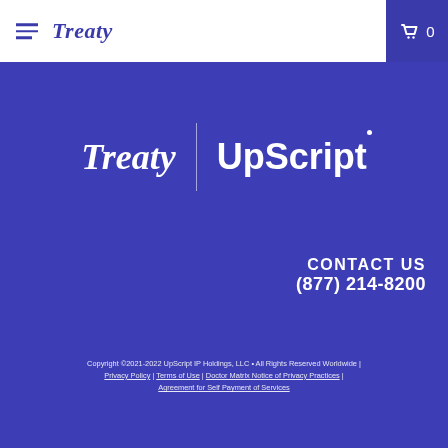Treaty
[Figure (logo): Treaty and UpScript logos side by side on blue background, separated by a vertical divider line]
CONTACT US
(877) 214-8200
Copyright ©2021-2022 UpScript IP Holdings, LLC • All Rights Reserved Worldwide | Privacy Policy | Terms of Use | Doctor Matrix Notice of Privacy Practices | Agreement for Self Payment of Services